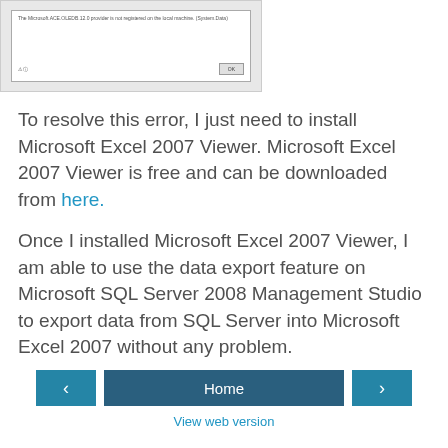[Figure (screenshot): Screenshot of an error dialog box showing 'The Microsoft.ACE.OLEDB.12.0 provider is not registered on the local machine. (System.Data)' with an OK button]
To resolve this error, I just need to install Microsoft Excel 2007 Viewer. Microsoft Excel 2007 Viewer is free and can be downloaded from here.
Once I installed Microsoft Excel 2007 Viewer, I am able to use the data export feature on Microsoft SQL Server 2008 Management Studio to export data from SQL Server into Microsoft Excel 2007 without any problem.
Lucas at 8:46 PM   No comments:
Share
Home
View web version